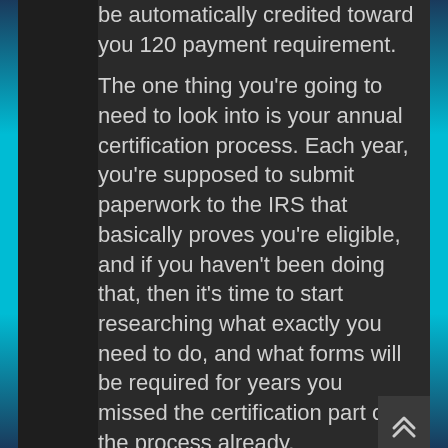be automatically credited toward you 120 payment requirement. The one thing you're going to need to look into is your annual certification process. Each year, you're supposed to submit paperwork to the IRS that basically proves you're eligible, and if you haven't been doing that, then it's time to start researching what exactly you need to do, and what forms will be required for years you missed the certification part of the process already.